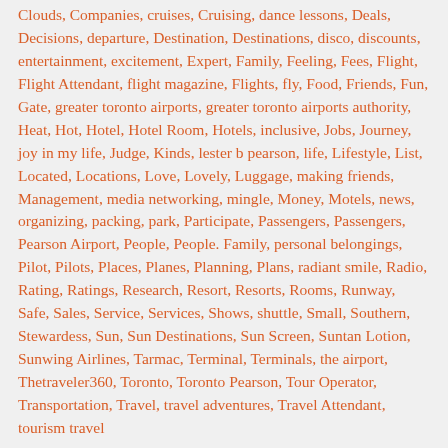Clouds, Companies, cruises, Cruising, dance lessons, Deals, Decisions, departure, Destination, Destinations, disco, discounts, entertainment, excitement, Expert, Family, Feeling, Fees, Flight, Flight Attendant, flight magazine, Flights, fly, Food, Friends, Fun, Gate, greater toronto airports, greater toronto airports authority, Heat, Hot, Hotel, Hotel Room, Hotels, inclusive, Jobs, Journey, joy in my life, Judge, Kinds, lester b pearson, life, Lifestyle, List, Located, Locations, Love, Lovely, Luggage, making friends, Management, media networking, mingle, Money, Motels, news, organizing, packing, park, Participate, Passengers, Passengers, Pearson Airport, People, People. Family, personal belongings, Pilot, Pilots, Places, Planes, Planning, Plans, radiant smile, Radio, Rating, Ratings, Research, Resort, Resorts, Rooms, Runway, Safe, Sales, Service, Services, Shows, shuttle, Small, Southern, Stewardess, Sun, Sun Destinations, Sun Screen, Suntan Lotion, Sunwing Airlines, Tarmac, Terminal, Terminals, the airport, Thetraveler360, Toronto, Toronto Pearson, Tour Operator, Transportation, Travel, travel adventures, Travel Attendant, tourism travel